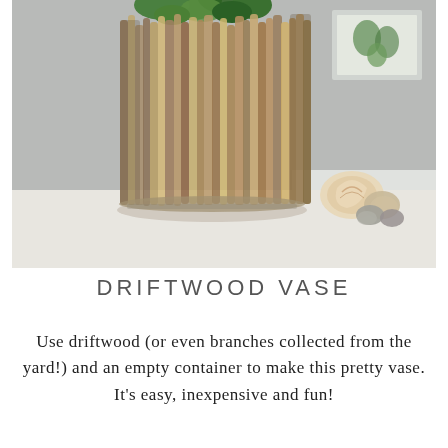[Figure (photo): Close-up photo of a driftwood vase — a cylindrical container wrapped with vertical driftwood sticks, holding green leafy plants. Next to the vase on a white surface are seashells and a smooth pebble. A framed artwork is visible in the blurred background.]
DRIFTWOOD VASE
Use driftwood (or even branches collected from the yard!) and an empty container to make this pretty vase. It's easy, inexpensive and fun!